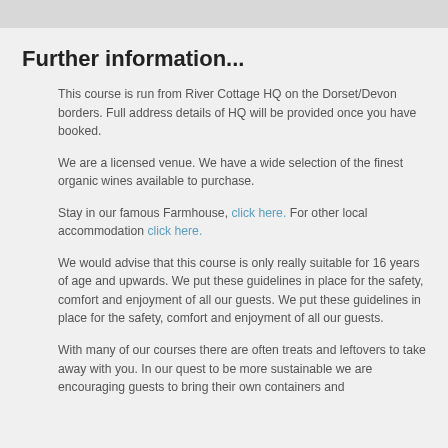Further information...
This course is run from River Cottage HQ on the Dorset/Devon borders. Full address details of HQ will be provided once you have booked.
We are a licensed venue. We have a wide selection of the finest organic wines available to purchase.
Stay in our famous Farmhouse, click here. For other local accommodation click here.
We would advise that this course is only really suitable for 16 years of age and upwards. We put these guidelines in place for the safety, comfort and enjoyment of all our guests. We put these guidelines in place for the safety, comfort and enjoyment of all our guests.
With many of our courses there are often treats and leftovers to take away with you. In our quest to be more sustainable we are encouraging guests to bring their own containers and